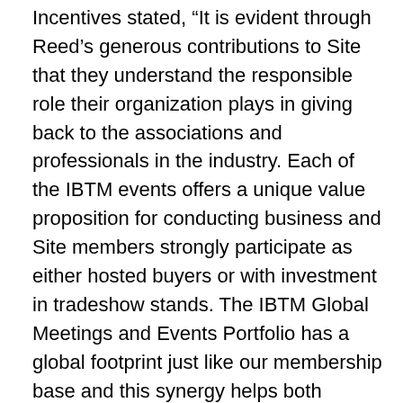Incentives stated, “It is evident through Reed’s generous contributions to Site that they understand the responsible role their organization plays in giving back to the associations and professionals in the industry. Each of the IBTM events offers a unique value proposition for conducting business and Site members strongly participate as either hosted buyers or with investment in tradeshow stands. The IBTM Global Meetings and Events Portfolio has a global footprint just like our membership base and this synergy helps both organisations visions for growth tremendously. We are proud that the Site India Chapter is involved with IBTM in the launch of its new IBTM India event this year.”
Craig Moyes, Portfolio Director for Meetings and Events at Reed Travel exhibitions added, “We have always valued the commitment Site has made to our global portfolio of